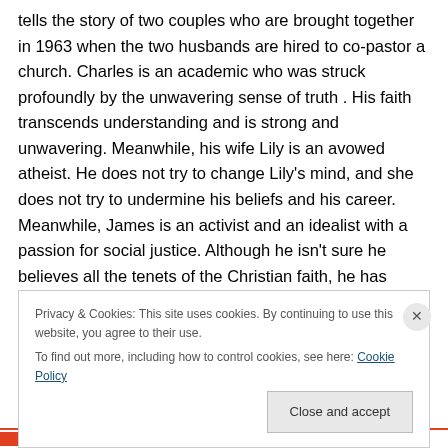tells the story of two couples who are brought together in 1963 when the two husbands are hired to co-pastor a church. Charles is an academic who was struck profoundly by the unwavering sense of truth . His faith transcends understanding and is strong and unwavering. Meanwhile, his wife Lily is an avowed atheist. He does not try to change Lily's mind, and she does not try to undermine his beliefs and his career. Meanwhile, James is an activist and an idealist with a passion for social justice. Although he isn't sure he believes all the tenets of the Christian faith, he has come to believe that the church is
Privacy & Cookies: This site uses cookies. By continuing to use this website, you agree to their use.
To find out more, including how to control cookies, see here: Cookie Policy